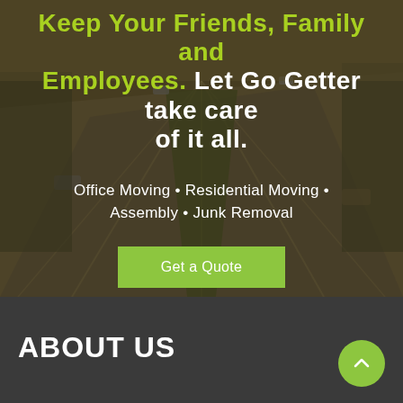[Figure (photo): Aerial view of a multi-lane highway with cars, overlaid with a dark semi-transparent filter, serving as a hero background image for a moving company website]
Keep Your Friends, Family and Employees. Let Go Getter take care of it all.
Office Moving • Residential Moving • Assembly • Junk Removal
Get a Quote
ABOUT US